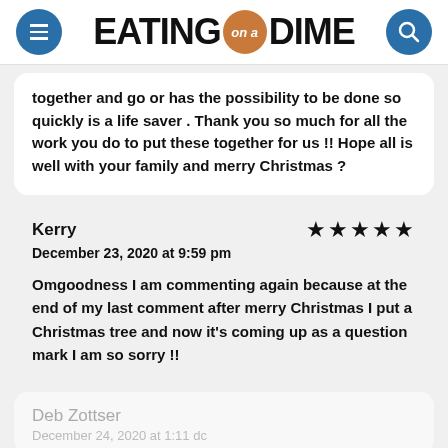[Figure (logo): Eating on a Dime logo with hamburger menu icon and search icon]
together and go or has the possibility to be done so quickly is a life saver . Thank you so much for all the work you do to put these together for us !! Hope all is well with your family and merry Christmas ?
Kerry
December 23, 2020 at 9:59 pm
Omgoodness I am commenting again because at the end of my last comment after merry Christmas I put a Christmas tree and now it's coming up as a question mark I am so sorry !!
Deb Zottser